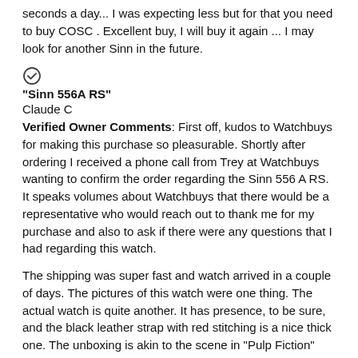seconds a day... I was expecting less but for that you need to buy COSC . Excellent buy, I will buy it again ... I may look for another Sinn in the future.
"Sinn 556A RS"
Claude C
Verified Owner Comments: First off, kudos to Watchbuys for making this purchase so pleasurable. Shortly after ordering I received a phone call from Trey at Watchbuys wanting to confirm the order regarding the Sinn 556 A RS. It speaks volumes about Watchbuys that there would be a representative who would reach out to thank me for my purchase and also to ask if there were any questions that I had regarding this watch.
The shipping was super fast and watch arrived in a couple of days. The pictures of this watch were one thing. The actual watch is quite another. It has presence, to be sure, and the black leather strap with red stitching is a nice thick one. The unboxing is akin to the scene in "Pulp Fiction" where John Travolta is unlocking the briefcase and opening the top. My Sinn 556A RS represented the gold light that was emanating from the briefcase.
This watch is simply beautiful, well made, and has that cool hip vibe to it. Thank You very much Watchbuys!